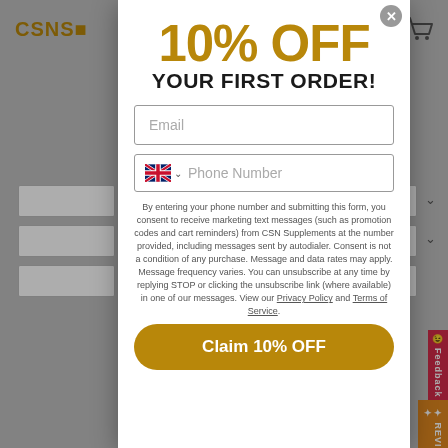[Figure (screenshot): Website background showing CSN logo, navigation, form rows, cart icon, and feedback/reviews side buttons in grey]
10% OFF YOUR FIRST ORDER!
Email
Phone Number
By entering your phone number and submitting this form, you consent to receive marketing text messages (such as promotion codes and cart reminders) from CSN Supplements at the number provided, including messages sent by autodialer. Consent is not a condition of any purchase. Message and data rates may apply. Message frequency varies. You can unsubscribe at any time by replying STOP or clicking the unsubscribe link (where available) in one of our messages. View our Privacy Policy and Terms of Service.
Claim 10% OFF